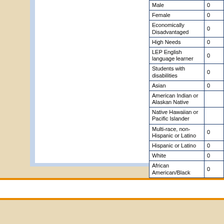| Category | Value |
| --- | --- |
| Male | 0 |
| Female | 0 |
| Economically Disadvantaged | 0 |
| High Needs | 0 |
| LEP English language learner | 0 |
| Students with disabilities | 0 |
| Asian | 0 |
| American Indian or Alaskan Native |  |
| Native Hawaiian or Pacific Islander |  |
| Multi-race, non-Hispanic or Latino | 0 |
| Hispanic or Latino | 0 |
| White | 0 |
| African American/Black | 0 |